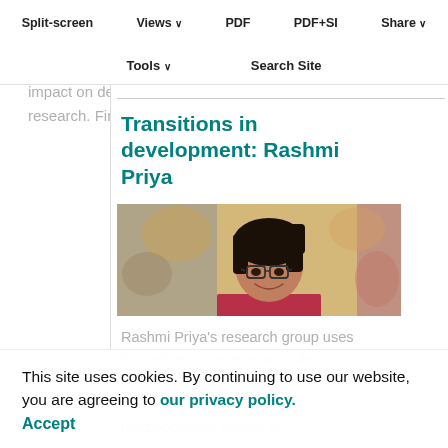Split-screen  Views ∨  PDF  PDF+SI  Share ∨
Tools ∨  Search Site
an existing technique, or a new resource that will have a significant impact on developmental biology research. Find out more here.
Transitions in development: Rashmi Priya
[Figure (photo): Portrait photo of Rashmi Priya, a woman with short dark hair and glasses, wearing a red top, smiling, with blurred background]
Rashmi Priya's research group uses the zebrafish heart as a model system to understand the complex morphogenetic events of
This site uses cookies. By continuing to use our website, you are agreeing to our privacy policy. Accept